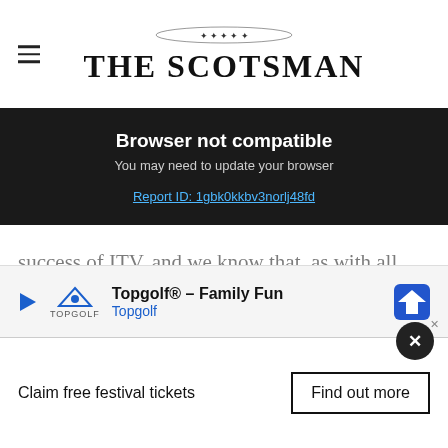THE SCOTSMAN
Browser not compatible
You may need to update your browser
Report ID: 1gbk0kkbv3norlj48fd
success of ITV, and we know that, as with all dramas, viewers increasingly watch them whenever, and however they choose.

“The new scheduling means that viewers can watch them live on TV in one go in a co... wh... ed shows every month.”
[Figure (screenshot): Topgolf advertisement banner: Topgolf® – Family Fun / Topgolf, with navigation icon]
Claim free festival tickets    Find out more